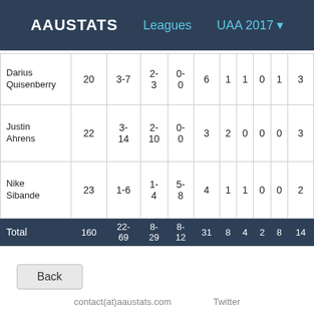AAUSTATS  Leagues  UAA 2017
|  |  |  |  |  |  |  |  |  |  |  |
| --- | --- | --- | --- | --- | --- | --- | --- | --- | --- | --- |
| Darius Quisenberry | 20 | 3-7 | 2-3 | 0-0 | 6 | 1 | 1 | 0 | 1 | 3 |
| Justin Ahrens | 22 | 3-14 | 2-10 | 0-0 | 3 | 2 | 0 | 0 | 0 | 3 |
| Nike Sibande | 23 | 1-6 | 1-4 | 5-8 | 4 | 1 | 1 | 0 | 0 | 2 |
| Total | 160 | 22-69 | 8-29 | 8-12 | 31 | 8 | 4 | 2 | 8 | 14 |
Back
contact(at)aaustats.com  Twitter